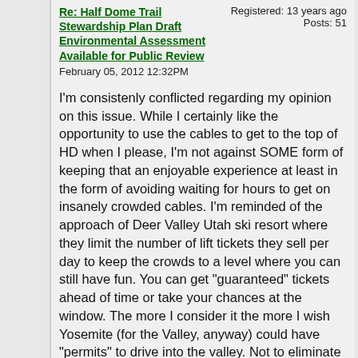Re: Half Dome Trail Stewardship Plan Draft Environmental Assessment Available for Public Review
Registered: 13 years ago
Posts: 51
February 05, 2012 12:32PM
I'm consistenly conflicted regarding my opinion on this issue. While I certainly like the opportunity to use the cables to get to the top of HD when I please, I'm not against SOME form of keeping that an enjoyable experience at least in the form of avoiding waiting for hours to get on insanely crowded cables. I'm reminded of the approach of Deer Valley Utah ski resort where they limit the number of lift tickets they sell per day to keep the crowds to a level where you can still have fun. You can get "guaranteed" tickets ahead of time or take your chances at the window. The more I consider it the more I wish Yosemite (for the Valley, anyway) could have "permits" to drive into the valley. Not to eliminate cars entirely like Zion, but at least enough to keep the place enjoyable. I know that starts an entirely different debate, but my idea would be to allow this restriction to supercede and even eliminate the HD "problem". As an out of state visitor, I have a bias in this direction, but here is what I think: If I invest my money and time in MONTHS of